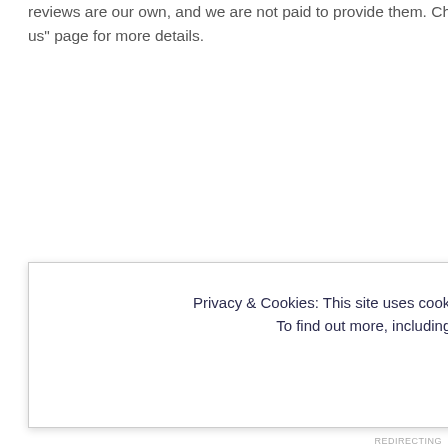reviews are our own, and we are not paid to provide them. Check the "About us" page for more details.
Privacy & Cookies: This site uses cookies. By continuing to use this website, you agree to their use.
To find out more, including how to control cookies, see here: Cookie Policy
Close and accept
REDIRECTING